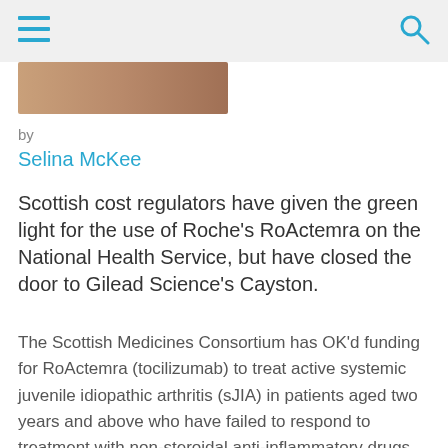[Figure (photo): Partial image at top of article, showing a brownish/skin-tone subject, cropped]
by
Selina McKee
Scottish cost regulators have given the green light for the use of Roche's RoActemra on the National Health Service, but have closed the door to Gilead Science's Cayston.
The Scottish Medicines Consortium has OK'd funding for RoActemra (tocilizumab) to treat active systemic juvenile idiopathic arthritis (sJIA) in patients aged two years and above who have failed to respond to treatment with non-steroidal anti-inflammatory drugs (NSAIDs)